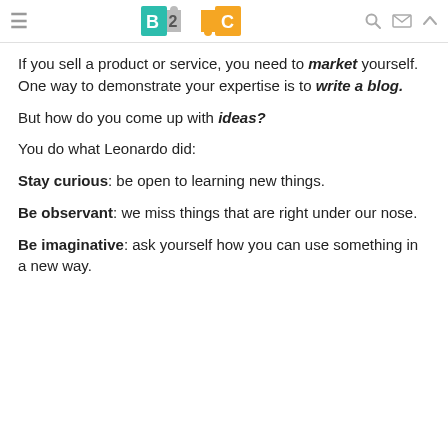B2C logo with navigation icons
If you sell a product or service, you need to market yourself. One way to demonstrate your expertise is to write a blog.
But how do you come up with ideas?
You do what Leonardo did:
Stay curious: be open to learning new things.
Be observant: we miss things that are right under our nose.
Be imaginative: ask yourself how you can use something in a new way.